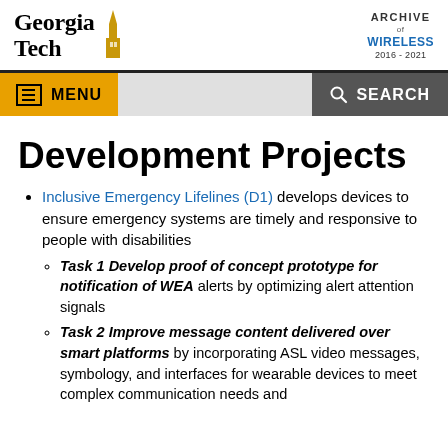[Figure (logo): Georgia Tech logo with stylized steeple icon and 'Archive of Wireless 2016-2021' logo on the right]
[Figure (infographic): Navigation bar with yellow MENU button and dark gray SEARCH button]
Development Projects
Inclusive Emergency Lifelines (D1) develops devices to ensure emergency systems are timely and responsive to people with disabilities
Task 1 Develop proof of concept prototype for notification of WEA alerts by optimizing alert attention signals
Task 2 Improve message content delivered over smart platforms by incorporating ASL video messages, symbology, and interfaces for wearable devices to meet complex communication needs and